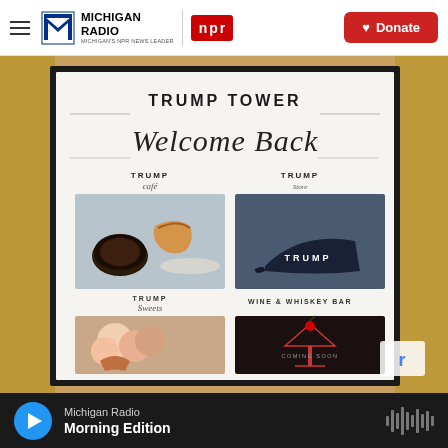Michigan Radio | NPR | Donate
[Figure (photo): Framed Trump Tower 'Welcome Back' sign showing Trump Café, Trump Store, Trump Sweets, and Wine & Whiskey Bar with product photos. Sign displayed against marble wall background.]
Michigan Radio
Morning Edition